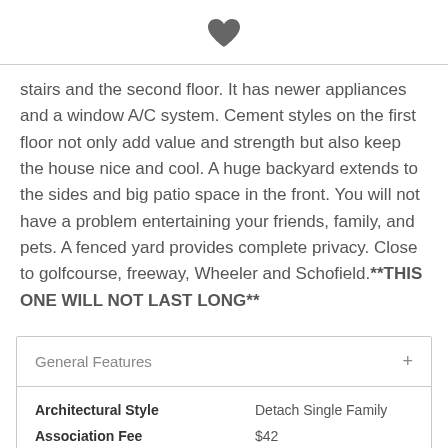[Figure (illustration): Dark heart/favorite icon centered at top of page]
stairs and the second floor. It has newer appliances and a window A/C system. Cement styles on the first floor not only add value and strength but also keep the house nice and cool. A huge backyard extends to the sides and big patio space in the front. You will not have a problem entertaining your friends, family, and pets. A fenced yard provides complete privacy. Close to golfcourse, freeway, Wheeler and Schofield.**THIS ONE WILL NOT LAST LONG**
General Features
| Architectural Style | Association Fee |
| --- | --- |
| Detach Single Family | $42 |